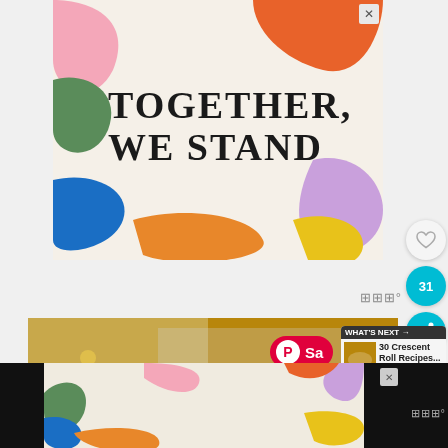[Figure (illustration): Advertisement banner with colorful blob shapes in pink, green, orange, blue, yellow, and purple on a cream background with bold text 'TOGETHER, WE STAND']
TOGETHER, WE STAND
[Figure (photo): Close-up food photo showing golden/yellow colored food item, partially obscured by UI overlays]
[Figure (screenshot): Pinterest save button overlay (red pill shape with Pinterest icon and 'Sa...' text)]
WHAT'S NEXT → 30 Crescent Roll Recipes...
[Figure (illustration): Bottom advertisement banner with same colorful blob design and text 'TOGETHER, WE STAND']
TOGETHER, WE STAND